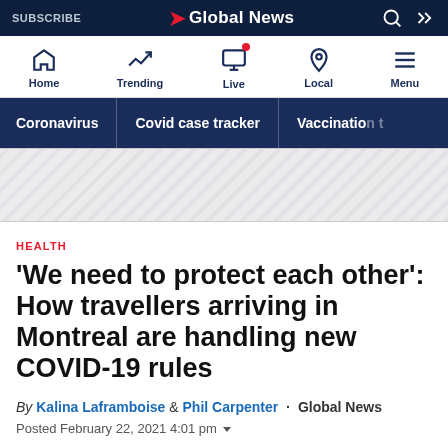SUBSCRIBE | Global News
[Figure (screenshot): Global News website navigation bar with Home, Trending, Live, Local, Menu icons]
[Figure (screenshot): Category navigation bar with Coronavirus, Covid case tracker, Vaccination tracker]
[Figure (screenshot): Ad/promo diagonal stripe banner area]
HEALTH
'We need to protect each other': How travellers arriving in Montreal are handling new COVID-19 rules
By Kalina Laframboise & Phil Carpenter · Global News
Posted February 22, 2021 4:01 pm